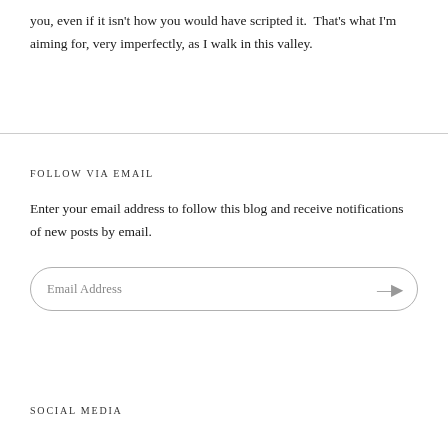you, even if it isn't how you would have scripted it.  That's what I'm aiming for, very imperfectly, as I walk in this valley.
FOLLOW VIA EMAIL
Enter your email address to follow this blog and receive notifications of new posts by email.
SOCIAL MEDIA